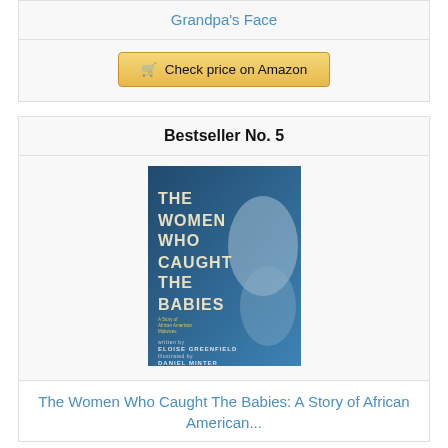Grandpa's Face
Check price on Amazon
Bestseller No. 5
[Figure (photo): Book cover of 'The Women Who Caught The Babies: A Story of African American Midwives' written by Eloise Greenfield, illustrated by Daniel Minter. Blue-toned cover with illustrated figures.]
The Women Who Caught The Babies: A Story of African American...